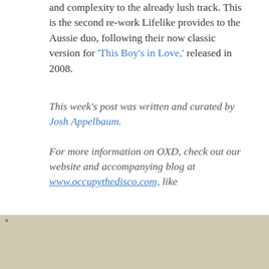and complexity to the already lush track. This is the second re-work Lifelike provides to the Aussie duo, following their now classic version for 'This Boy's in Love,' released in 2008.
This week's post was written and curated by Josh Appelbaum.
For more information on OXD, check out our website and accompanying blog at www.occupythedisco.com, like